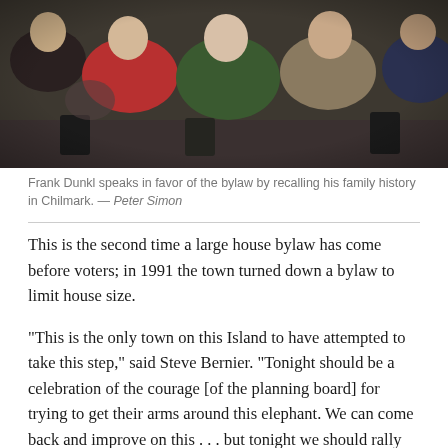[Figure (photo): Group of people seated at what appears to be a town meeting or community event. Several people are visible including a woman in red, a woman in green, and a man in a tan sweater.]
Frank Dunkl speaks in favor of the bylaw by recalling his family history in Chilmark. — Peter Simon
This is the second time a large house bylaw has come before voters; in 1991 the town turned down a bylaw to limit house size.
“This is the only town on this Island to have attempted to take this step,” said Steve Bernier. “Tonight should be a celebration of the courage [of the planning board] for trying to get their arms around this elephant. We can come back and improve on this . . . but tonight we should rally together and let go of our individualism and think about this community that we love.”
There were passionate stories about old Chilmark. Frank Dunkl